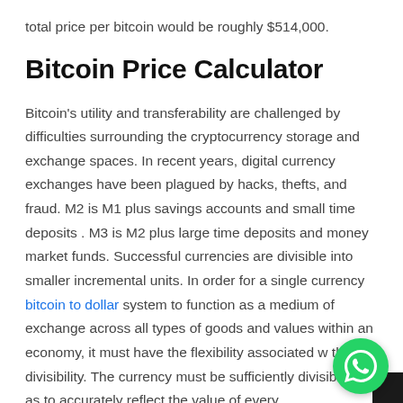total price per bitcoin would be roughly $514,000.
Bitcoin Price Calculator
Bitcoin's utility and transferability are challenged by difficulties surrounding the cryptocurrency storage and exchange spaces. In recent years, digital currency exchanges have been plagued by hacks, thefts, and fraud. M2 is M1 plus savings accounts and small time deposits . M3 is M2 plus large time deposits and money market funds. Successful currencies are divisible into smaller incremental units. In order for a single currency bitcoin to dollar system to function as a medium of exchange across all types of goods and values within an economy, it must have the flexibility associated with this divisibility. The currency must be sufficiently divisible so as to accurately reflect the value of every